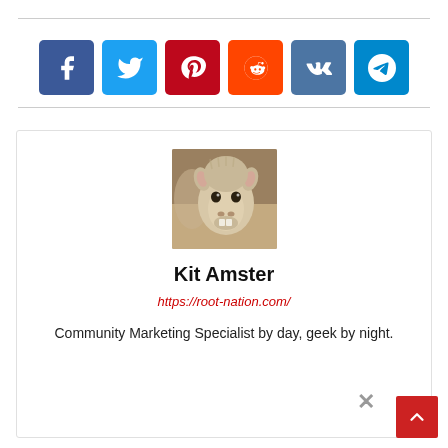[Figure (infographic): Social media share buttons row: Facebook (blue), Twitter (cyan), Pinterest (red), Reddit (orange), VK (slate blue), Telegram (light blue)]
[Figure (photo): Author card for Kit Amster showing a llama/goat photo, name, website URL, and bio text]
Kit Amster
https://root-nation.com/
Community Marketing Specialist by day, geek by night.